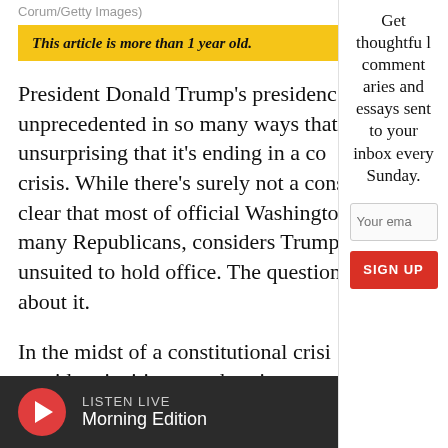Corum/Getty Images)
This article is more than 1 year old.
President Donald Trump's presidency is unprecedented in so many ways that it's unsurprising that it's ending in a constitutional crisis. While there's surely not a consensus, it's clear that most of official Washington, including many Republicans, considers Trump unfit and unsuited to hold office. The question is what to do about it.
In the midst of a constitutional crisis, with a president inciting a mob to insurrect
Get thoughtful commentaries and essays sent to your inbox every Sunday.
Your email
SIGN UP
LISTEN LIVE Morning Edition